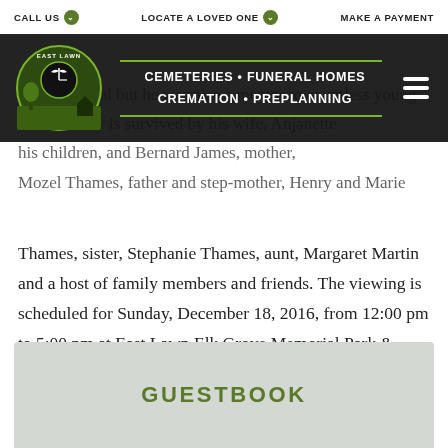CALL US   LOCATE A LOVED ONE   MAKE A PAYMENT
[Figure (logo): East Lawn Cemeteries Funeral Homes Cremation Preplanning logo with navigation overlay banner on dark background]
not additional but he was also a mentor to countless young women. Kay is survived by his wife, Anjanette his children, and Bernard James, mother, Mozel Thames, father and step-mother, Henry and Marie Thames, sister, Stephanie Thames, aunt, Margaret Martin and a host of family members and friends. The viewing is scheduled for Sunday, December 18, 2016, from 12:00 pm to 5:00 pm at East Lawn Elk Grove Memorial Park & Mortuary, 9189 E. Stockton Blvd., Elk Grove, CA. The funeral is scheduled for Monday, December 19, 2016, at Harvest Church, 10385 E. Stockton Blvd., Elk Grove, CA.
GUESTBOOK